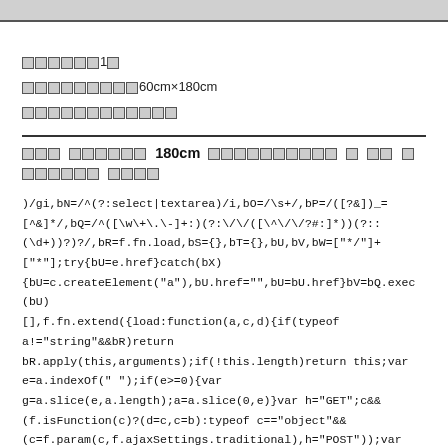□□□□□□1□
□□□□□□□□□60cm×180cm
□□□□□□□□□□□□
□□□ □□□□□□ 180cm □□□□□□□□□□ □ □□ □□□□□□□ □□□□
)/gi,bN=/^(?:select|textarea)/i,bO=/\s+/,bP=/([?&])_=[^&]*/,bQ=/^([\w\+\.\-]+:)(?\/\/([^\/?#:]*))(?::(\d+))?)?/,bR=f.fn.load,bS={},bT={},bU,bV,bW=["*/"]+["*"];try{bU=e.href}catch(bX){bU=c.createElement("a"),bU.href="",bU=bU.href}bV=bQ.exec(bU)[],f.fn.extend({load:function(a,c,d){if(typeof a!="string"&&bR)return bR.apply(this,arguments);if(!this.length)return this;var e=a.indexOf(" ");if(e>=0){var g=a.slice(e,a.length);a=a.slice(0,e)}var h="GET";c&&(f.isFunction(c)?(d=c,c=b):typeof c=="object"&&(c=f.param(c,f.ajaxSettings.traditional),h="POST"));var